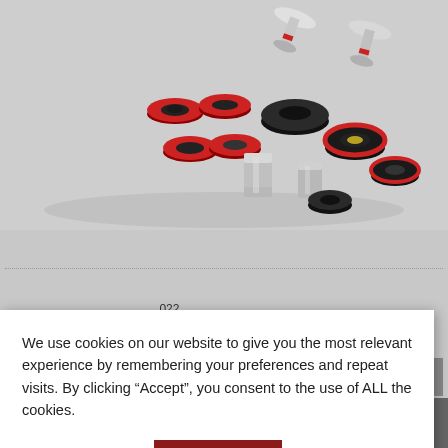[Figure (photo): Assorted automotive suspension bushings and mounts: red polyurethane bushings, black rubber bushings, chrome/metal sleeves, and shock mount hardware arranged on a light grey background.]
...022.
We use cookies on our website to give you the most relevant experience by remembering your preferences and repeat visits. By clicking “Accept”, you consent to the use of ALL the cookies.
Cookie settings
ACCEPT